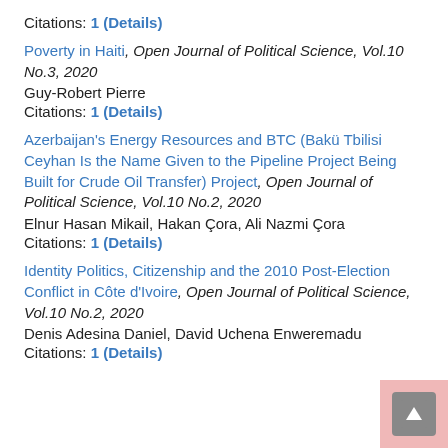Citations: 1 (Details)
Poverty in Haiti, Open Journal of Political Science, Vol.10 No.3, 2020
Guy-Robert Pierre
Citations: 1 (Details)
Azerbaijan's Energy Resources and BTC (Bakü Tbilisi Ceyhan Is the Name Given to the Pipeline Project Being Built for Crude Oil Transfer) Project, Open Journal of Political Science, Vol.10 No.2, 2020
Elnur Hasan Mikail, Hakan Çora, Ali Nazmi Çora
Citations: 1 (Details)
Identity Politics, Citizenship and the 2010 Post-Election Conflict in Côte d'Ivoire, Open Journal of Political Science, Vol.10 No.2, 2020
Denis Adesina Daniel, David Uchena Enweremadu
Citations: 1 (Details)